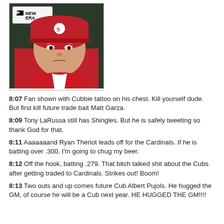[Figure (photo): Photo of a man wearing a red St. Louis Cardinals cap and red hoodie, with a New Era logo and 'FLY YOUR OWN FLAG' text visible in background]
8:07 Fan shown with Cubbie tattoo on his chest. Kill yourself dude. But first kill future trade bait Matt Garza.
8:09 Tony LaRussa still has Shingles. But he is safely tweeting so thank God for that.
8:11 Aaaaaaand Ryan Theriot leads off for the Cardinals. If he is batting over .300, I'm going to chug my beer.
8:12 Off the hook, batting .279. That bitch talked shit about the Cubs after getting traded to Cardinals. Strikes out! Boom!
8:13 Two outs and up comes future Cub Albert Pujols. He hugged the GM, of course he will be a Cub next year. HE HUGGED THE GM!!!!